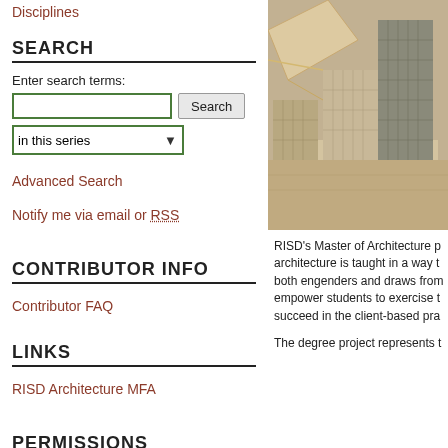Disciplines
SEARCH
Enter search terms:
in this series
Advanced Search
Notify me via email or RSS
CONTRIBUTOR INFO
Contributor FAQ
LINKS
RISD Architecture MFA
PERMISSIONS
[Figure (photo): Aerial/overhead view of architectural scale models showing building structures made of cardboard/wood]
RISD's Master of Architecture p... architecture is taught in a way t... both engenders and draws from... empower students to exercise t... succeed in the client-based pra...
The degree project represents t...